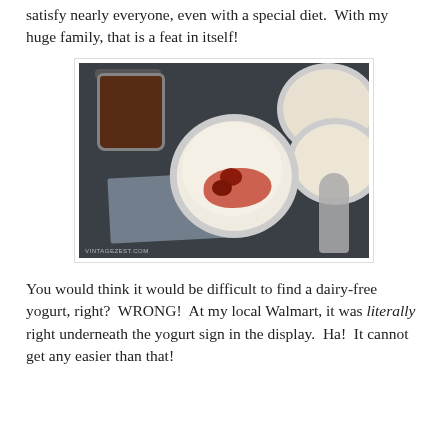satisfy nearly everyone, even with a special diet.  With my huge family, that is a feat in itself!
[Figure (photo): Overhead photo of a white ramekin filled with creamy yogurt topped with red berry sauce and raspberries, alongside a jar of jam and additional ramekins, on a dark slate surface with a grey napkin and silver spoon.]
You would think it would be difficult to find a dairy-free yogurt, right?  WRONG!  At my local Walmart, it was literally right underneath the yogurt sign in the display.  Ha!  It cannot get any easier than that!